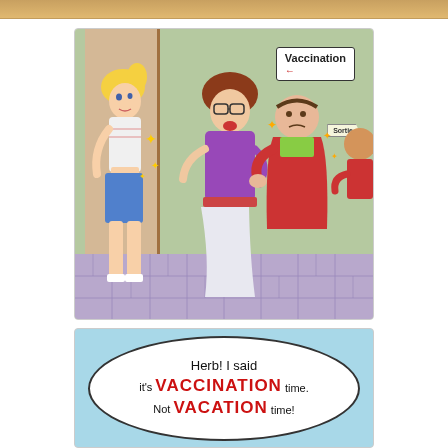[Figure (illustration): A cartoon showing a waiting line at a vaccination clinic. A blonde woman in shorts is rushing out of the room looking pleased. Three people in the queue (a woman with glasses, a heavyset man, and a child) look shocked and alarmed. On the wall is a sign reading 'Vaccination' with an arrow, and a smaller sign reading 'Sortie'.]
[Figure (illustration): A comic speech bubble on a light blue background reading: 'Herb! I said it's VACCINATION time. Not VACATION time!' — with VACCINATION and VACATION in large bold red uppercase letters.]